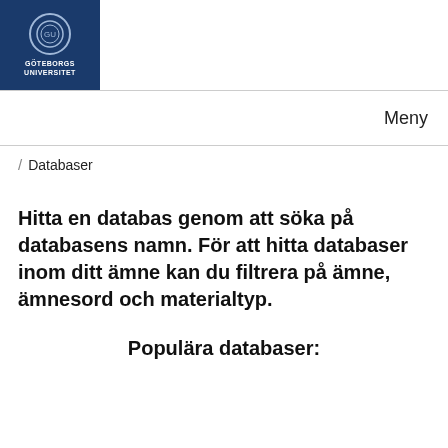[Figure (logo): Göteborgs Universitet logo — blue rectangle with circular emblem and institution name in white]
Meny
/ Databaser
Hitta en databas genom att söka på databasens namn. För att hitta databaser inom ditt ämne kan du filtrera på ämne, ämnesord och materialtyp.
Populära databaser: